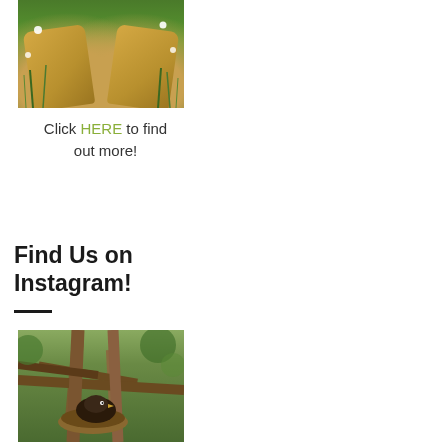[Figure (photo): Overhead view of two tan/yellow hiking boots standing in green grass with small white flowers]
Click HERE to find out more!
Find Us on Instagram!
[Figure (photo): A bird sitting in a nest nestled among tree branches, outdoor nature photo]
@outdoorosity